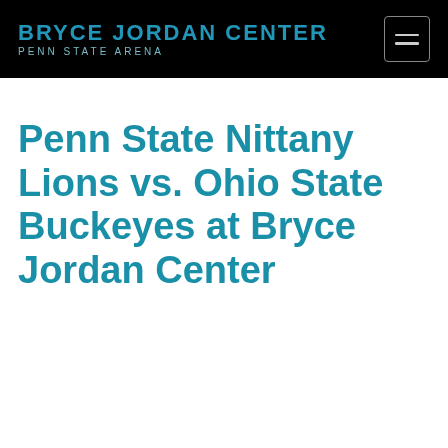BRYCE JORDAN CENTER PENN STATE ARENA
Penn State Nittany Lions vs. Ohio State Buckeyes at Bryce Jordan Center